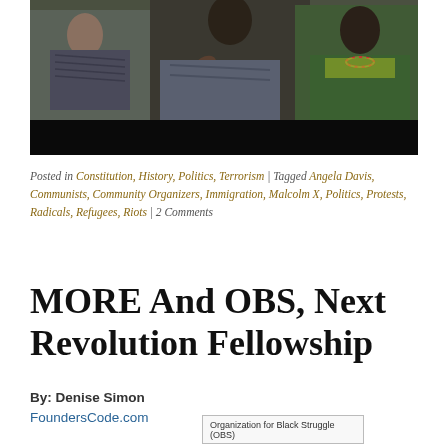[Figure (photo): Photograph of people, cropped at top, showing figures from mid-body down, dark lower band]
Posted in Constitution, History, Politics, Terrorism | Tagged Angela Davis, Communists, Community Organizers, Immigration, Malcolm X, Politics, Protests, Radicals, Refugees, Riots | 2 Comments
MORE And OBS, Next Revolution Fellowship
By: Denise Simon
FoundersCode.com
[Figure (screenshot): Organization for Black Struggle (OBS) box/widget at bottom]